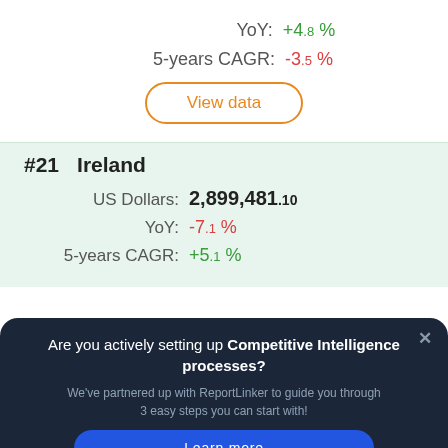YoY: +4.8 %
5-years CAGR: -3.5 %
View data
#21   Ireland
US Dollars: 2,899,481.10
YoY: -7.1 %
5-years CAGR: +5.1 %
Are you actively setting up Competitive Intelligence processes?
We've partnered up with ReportLinker to guide you through 3 easy steps you can start with!
Learn more